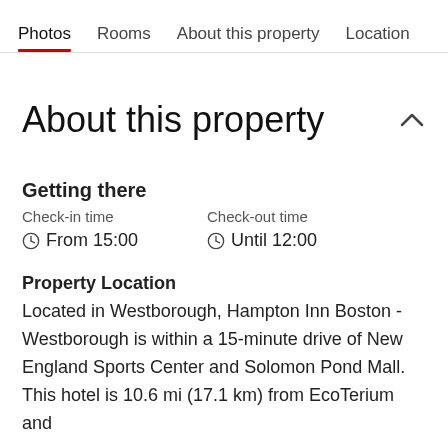Photos   Rooms   About this property   Location
About this property
Getting there
Check-in time
From 15:00
Check-out time
Until 12:00
Property Location
Located in Westborough, Hampton Inn Boston - Westborough is within a 15-minute drive of New England Sports Center and Solomon Pond Mall. This hotel is 10.6 mi (17.1 km) from EcoTerium and